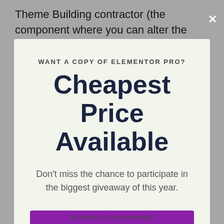Theme Building contractor (the component where you can alter the headers and also factors of your
WANT A COPY OF ELEMENTOR PRO?
Cheapest Price Available
Don't miss the chance to participate in the biggest giveaway of this year.
VISIT ELEMENTOR OFFICIAL WEBSITE HERE 👈
assimilations with preferred marketing devices).
No thanks, I'm not interested!